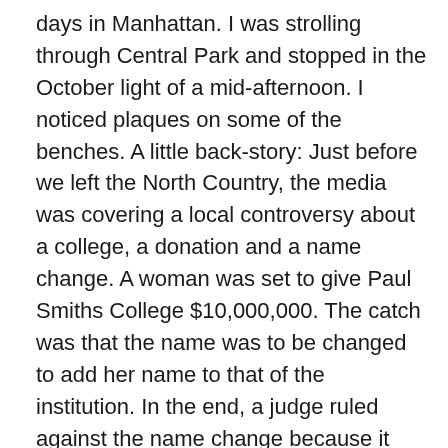days in Manhattan.  I was strolling through Central Park and stopped in the October light of a mid-afternoon.  I noticed plaques on some of the benches.  A little back-story:  Just before we left the North Country, the media was covering a local controversy about a college, a donation and a name change.  A woman was set to give Paul Smiths College $10,000,000.  The catch was that the name was to be changed to add her name to that of the institution.  In the end, a judge ruled against the name change because it violated the original deed of the donation of the land for the college, by Paul Smiths son.  And, the judge said that the college didn't prove that the money was essential to the survival of the college.
Me? I was against the name change because I felt it violated the true nature of philanthropy.  But, that's another story.  And out in Central Park, I looked at the plaques and...